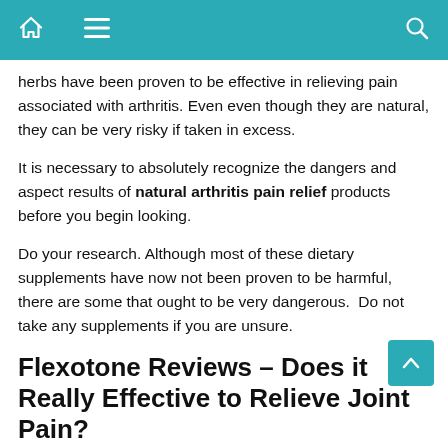Navigation bar with home, menu, and search icons
herbs have been proven to be effective in relieving pain associated with arthritis. Even even though they are natural, they can be very risky if taken in excess.
It is necessary to absolutely recognize the dangers and aspect results of natural arthritis pain relief products before you begin looking.
Do your research. Although most of these dietary supplements have now not been proven to be harmful, there are some that ought to be very dangerous.  Do not take any supplements if you are unsure.
Flexotone Reviews – Does it Really Effective to Relieve Joint Pain?
Natural arthritis supplements should be used only under the supervision of a doctor. It is important to ensure that you are not allergic to any of the ingredients or that your body can adjust to the